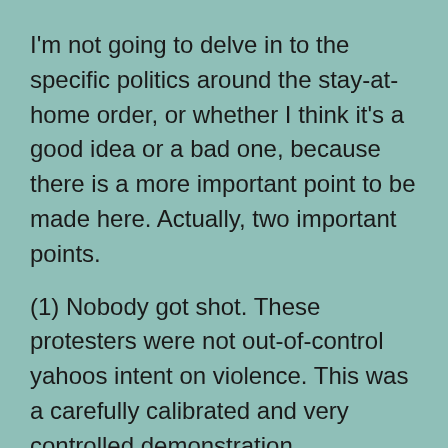I'm not going to delve in to the specific politics around the stay-at-home order, or whether I think it's a good idea or a bad one, because there is a more important point to be made here. Actually, two important points.
(1) Nobody got shot. These protesters were not out-of-control yahoos intent on violence. This was a carefully calibrated and very controlled demonstration.
(2) This is the American constitutional system working correctly and as designed by the Founders. When the patience of the people